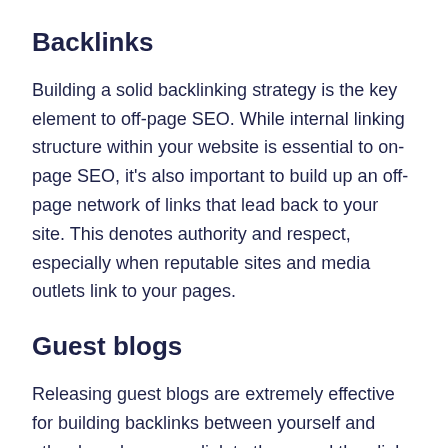Backlinks
Building a solid backlinking strategy is the key element to off-page SEO. While internal linking structure within your website is essential to on-page SEO, it’s also important to build up an off-page network of links that lead back to your site. This denotes authority and respect, especially when reputable sites and media outlets link to your pages.
Guest blogs
Releasing guest blogs are extremely effective for building backlinks between yourself and other brands, as you link to them, and they link to you.